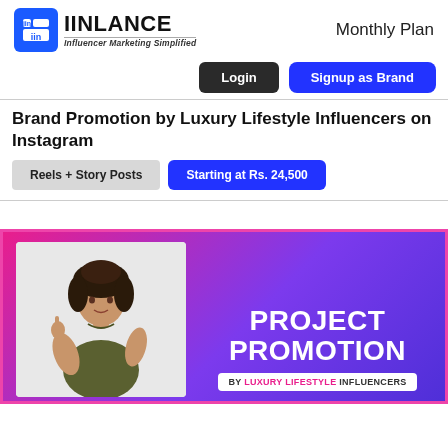IINLANCE — Influencer Marketing Simplified | Monthly Plan
Login
Signup as Brand
Brand Promotion by Luxury Lifestyle Influencers on Instagram
Reels + Story Posts
Starting at Rs. 24,500
[Figure (photo): Promotional banner with gradient pink-to-purple background showing a young woman pointing upward on the left side, and text 'PROJECT PROMOTION BY LUXURY LIFESTYLE INFLUENCERS' on the right side.]